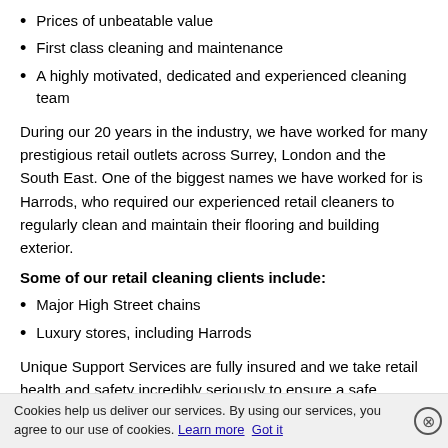Prices of unbeatable value
First class cleaning and maintenance
A highly motivated, dedicated and experienced cleaning team
During our 20 years in the industry, we have worked for many prestigious retail outlets across Surrey, London and the South East. One of the biggest names we have worked for is Harrods, who required our experienced retail cleaners to regularly clean and maintain their flooring and building exterior.
Some of our retail cleaning clients include:
Major High Street chains
Luxury stores, including Harrods
Unique Support Services are fully insured and we take retail health and safety incredibly seriously to ensure a safe working environment at all times.
Cookies help us deliver our services. By using our services, you agree to our use of cookies. Learn more Got it